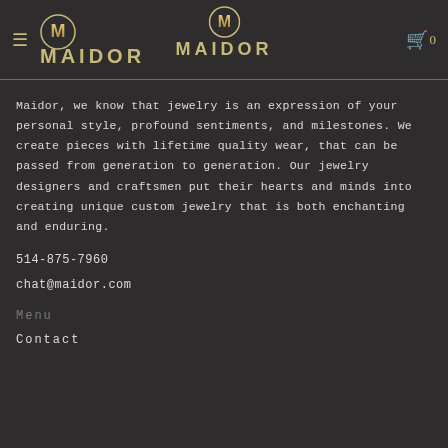MAIDOR (navigation header with logos)
Maidor, we know that jewelry is an expression of your personal style, profound sentiments, and milestones. We create pieces with lifetime quality wear, that can be passed from generation to generation. Our jewelry designers and craftsmen put their hearts and minds into creating unique custom jewelry that is both enchanting and enduring.
514-875-7960
chat@maidor.com
Menu
Contact